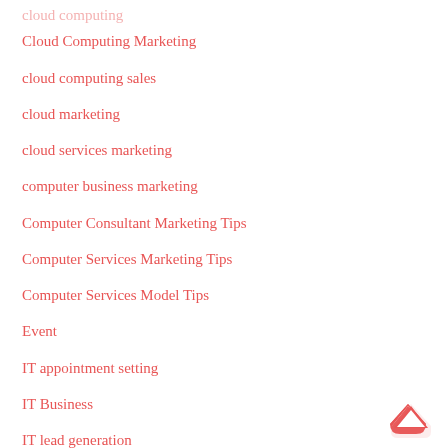cloud computing
Cloud Computing Marketing
cloud computing sales
cloud marketing
cloud services marketing
computer business marketing
Computer Consultant Marketing Tips
Computer Services Marketing Tips
Computer Services Model Tips
Event
IT appointment setting
IT Business
IT lead generation
IT leads
IT marketing